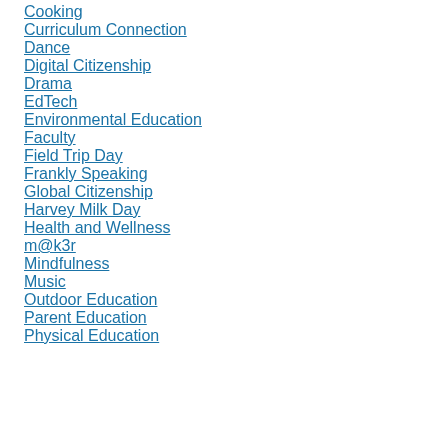Cooking
Curriculum Connection
Dance
Digital Citizenship
Drama
EdTech
Environmental Education
Faculty
Field Trip Day
Frankly Speaking
Global Citizenship
Harvey Milk Day
Health and Wellness
m@k3r
Mindfulness
Music
Outdoor Education
Parent Education
Physical Education